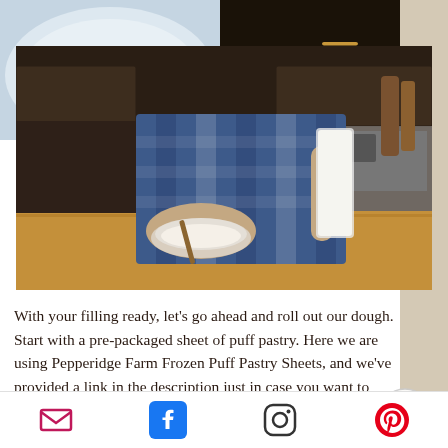[Figure (photo): Plate with a slice of caramel/pumpkin tart and sauce on a light blue plate, top-left corner]
[Figure (photo): Person in blue plaid flannel shirt working with puff pastry dough in a kitchen, pulling dough from packaging over a glass bowl on a wooden counter]
With your filling ready, let’s go ahead and roll out our dough. Start with a pre-packaged sheet of puff pastry. Here we are using Pepperidge Farm Frozen Puff Pastry Sheets, and we’ve provided a link in the description just in case you want to
[Figure (other): Back-to-top circular arrow button overlay]
Email | Facebook | Instagram | Pinterest social media icons